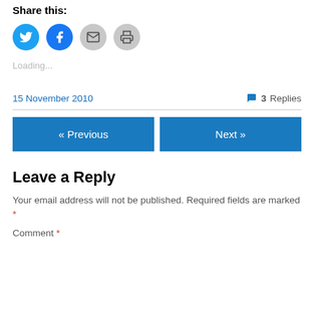Share this:
[Figure (illustration): Four social sharing icon buttons: Twitter (blue), Facebook (blue), Email (gray), Print (gray)]
Loading...
15 November 2010
3 Replies
« Previous
Next »
Leave a Reply
Your email address will not be published. Required fields are marked *
Comment *